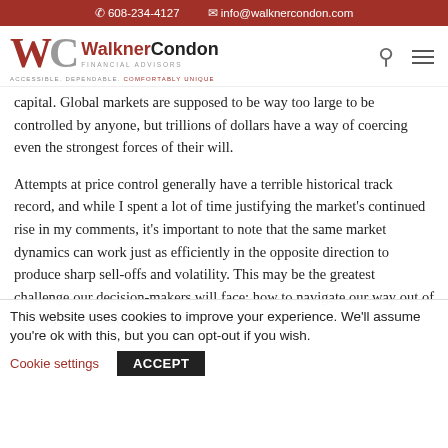608-234-4127  info@walknercondon.com
[Figure (logo): WalknerCondon Financial Advisors logo with W and C letterforms in red and gray, tagline: ACCESSIBLE. DEPENDABLE. COMFORTABLY UNIQUE.]
capital. Global markets are supposed to be way too large to be controlled by anyone, but trillions of dollars have a way of coercing even the strongest forces of their will.
Attempts at price control generally have a terrible historical track record, and while I spent a lot of time justifying the market's continued rise in my comments, it's important to note that the same market dynamics can work just as efficiently in the opposite direction to produce sharp sell-offs and volatility. This may be the greatest challenge our decision-makers will face: how to navigate our way out of the current QE-fueled trap, and back to
This website uses cookies to improve your experience. We'll assume you're ok with this, but you can opt-out if you wish.